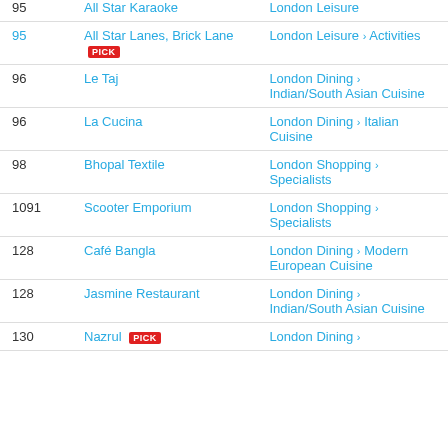| # | Name | Category |
| --- | --- | --- |
| 95 | All Star Karaoke | London Leisure |
| 95 | All Star Lanes, Brick Lane [PICK] | London Leisure > Activities |
| 96 | Le Taj | London Dining > Indian/South Asian Cuisine |
| 96 | La Cucina | London Dining > Italian Cuisine |
| 98 | Bhopal Textile | London Shopping > Specialists |
| 1091 | Scooter Emporium | London Shopping > Specialists |
| 128 | Café Bangla | London Dining > Modern European Cuisine |
| 128 | Jasmine Restaurant | London Dining > Indian/South Asian Cuisine |
| 130 | Nazrul [PICK] | London Dining > |